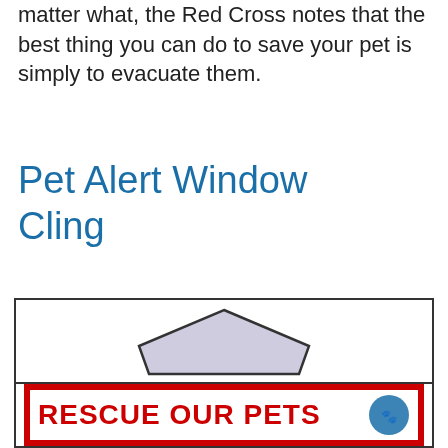matter what, the Red Cross notes that the best thing you can do to save your pet is simply to evacuate them.
Pet Alert Window Cling
[Figure (illustration): A pet alert window cling illustration showing the top portion of a house-shaped cling with a pentagon/house roof shape in light gray/lavender, and the bottom portion showing a red-bordered rectangle with bold red text reading 'RESCUE OUR PETS' and a partial circular logo on the right.]